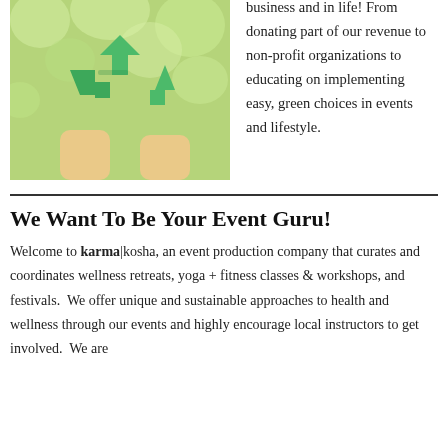[Figure (photo): Hands holding green paper recycling arrows symbol outdoors with bokeh green background]
business and in life! From donating part of our revenue to non-profit organizations to educating on implementing easy, green choices in events and lifestyle.
We Want To Be Your Event Guru!
Welcome to karma|kosha, an event production company that curates and coordinates wellness retreats, yoga + fitness classes & workshops, and festivals. We offer unique and sustainable approaches to health and wellness through our events and highly encourage local instructors to get involved. We are